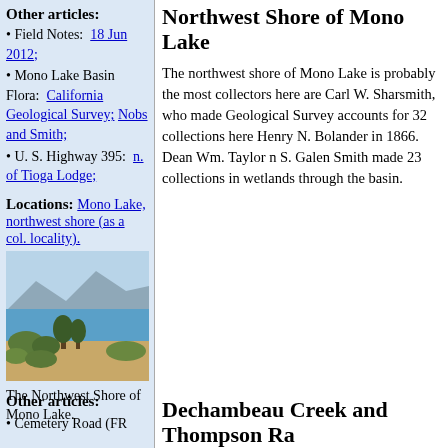Northwest Shore of Mono Lake
The northwest shore of Mono Lake is probably the most collected here are Carl W. Sharsmith, who made many collections. Geological Survey accounts for 32 collections here, as does Henry N. Bolander in 1866. Dean Wm. Taylor made 31. S. Galen Smith made 23 collections in wetlands and meadows through the basin.
Other articles:
Field Notes: 18 Jun 2012;
Mono Lake Basin Flora: California Geological Survey; Nobs and Smith;
U. S. Highway 395: n. of Tioga Lodge;
Locations:
Mono Lake, northwest shore (as a col. locality).
[Figure (photo): Landscape photo of the Northwest Shore of Mono Lake, showing blue water, shrubby vegetation, and mountains in background.]
The Northwest Shore of Mono Lake.
Other articles:
Cemetery Road (FR
Dechambeau Creek and Thompson Ra
[Figure (photo): Three photos at the bottom of the page showing riparian or meadow vegetation scenes.]